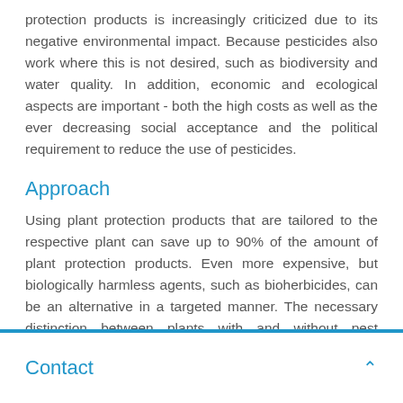protection products is increasingly criticized due to its negative environmental impact. Because pesticides also work where this is not desired, such as biodiversity and water quality. In addition, economic and ecological aspects are important - both the high costs as well as the ever decreasing social acceptance and the political requirement to reduce the use of pesticides.
Approach
Using plant protection products that are tailored to the respective plant can save up to 90% of the amount of plant protection products. Even more expensive, but biologically harmless agents, such as bioherbicides, can be an alternative in a targeted manner. The necessary distinction between plants with and without pest infestation is basically possible with sensors. In contrast to the currently available sensors, sensors with a very high
Contact